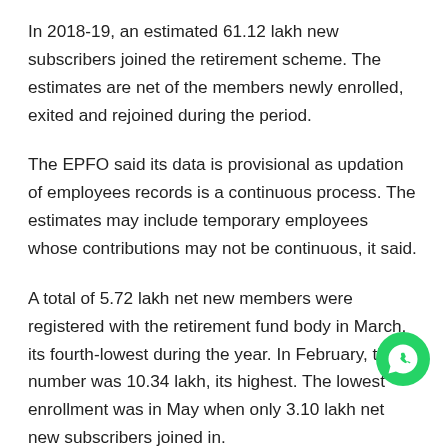In 2018-19, an estimated 61.12 lakh new subscribers joined the retirement scheme. The estimates are net of the members newly enrolled, exited and rejoined during the period.
The EPFO said its data is provisional as updation of employees records is a continuous process. The estimates may include temporary employees whose contributions may not be continuous, it said.
A total of 5.72 lakh net new members were registered with the retirement fund body in March, its fourth-lowest during the year. In February, the number was 10.34 lakh, its highest. The lowest enrollment was in May when only 3.10 lakh net new subscribers joined in.
The EPFO has been releasing the age-wise payroll data since